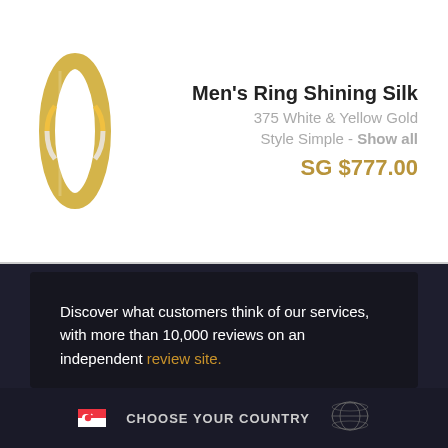[Figure (photo): Gold men's ring - Shining Silk style in 375 White and Yellow Gold]
Men's Ring Shining Silk
375 White & Yellow Gold
Style Simple - Show all
SG $777.00
Discover what customers think of our services, with more than 10,000 reviews on an independent review site.
[Figure (logo): Trustpilot logo with green star and text 'Trustpilot']
4.7 • Excellent
CHOOSE YOUR COUNTRY
[Figure (illustration): World map globe illustration]